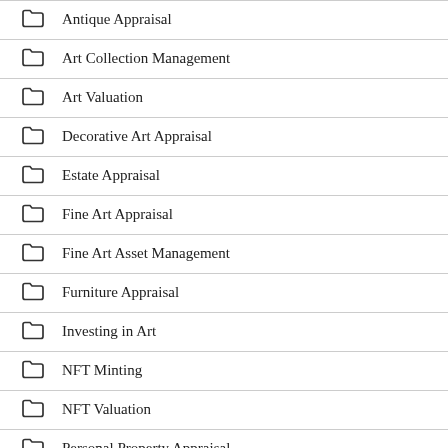Antique Appraisal
Art Collection Management
Art Valuation
Decorative Art Appraisal
Estate Appraisal
Fine Art Appraisal
Fine Art Asset Management
Furniture Appraisal
Investing in Art
NFT Minting
NFT Valuation
Personal Property Appraisal
Selling Art / something